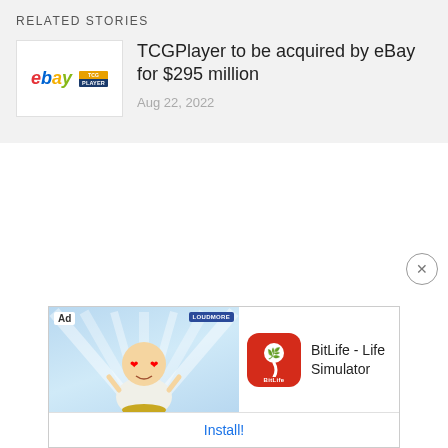RELATED STORIES
TCGPlayer to be acquired by eBay for $295 million
Aug 22, 2022
[Figure (screenshot): Ad for BitLife - Life Simulator app showing cartoon character and app icon with Install button]